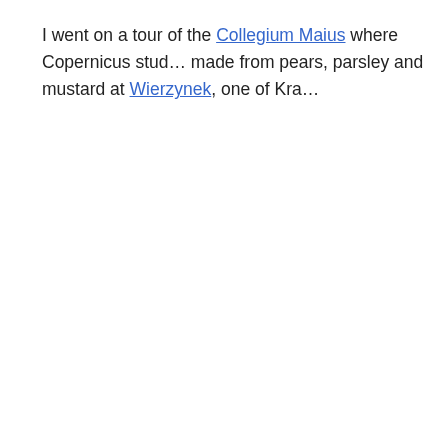I went on a tour of the Collegium Maius where Copernicus stud… made from pears, parsley and mustard at Wierzynek, one of Kra…